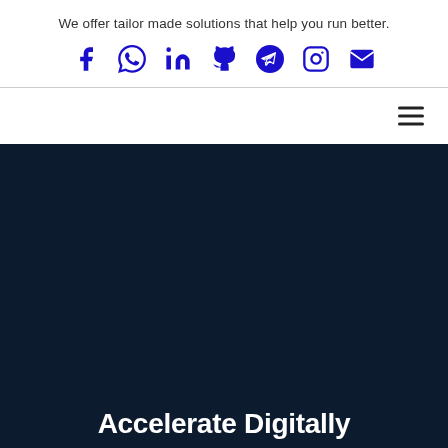We offer tailor made solutions that help you run better.
[Figure (infographic): Row of 7 social media icons in blue: Facebook, WhatsApp, LinkedIn, GitHub, Telegram, Instagram, Email]
[Figure (infographic): Hamburger menu icon (three horizontal lines) on the right side of the navigation bar]
Accelerate Digitally